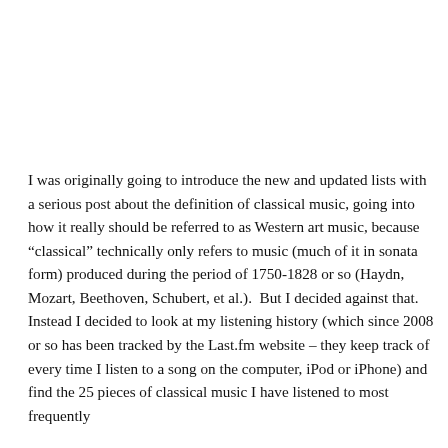I was originally going to introduce the new and updated lists with a serious post about the definition of classical music, going into how it really should be referred to as Western art music, because “classical” technically only refers to music (much of it in sonata form) produced during the period of 1750-1828 or so (Haydn, Mozart, Beethoven, Schubert, et al.).  But I decided against that.  Instead I decided to look at my listening history (which since 2008 or so has been tracked by the Last.fm website – they keep track of every time I listen to a song on the computer, iPod or iPhone) and find the 25 pieces of classical music I have listened to most frequently (without the continuous repetitions of it). Then the ll...